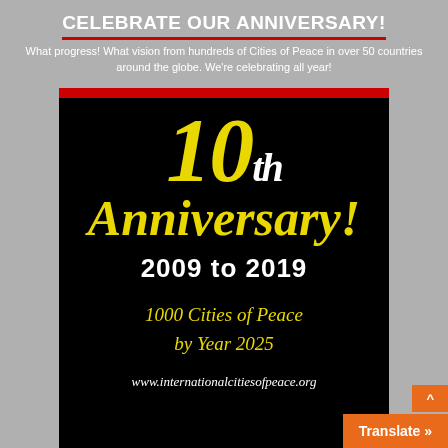CELEBRATE OUR ANNIVERSARY!
What progress! What vision from hundreds of Cities of Peace in over 50 countries around the globe. We're celebrating all year!
[Figure (illustration): Black background promotional image for 10th Anniversary of International Cities of Peace, 2009 to 2019, with text '1000 Cities of Peace by Year 2025' and website www.internationalcitiesofpeace.org]
Translate »